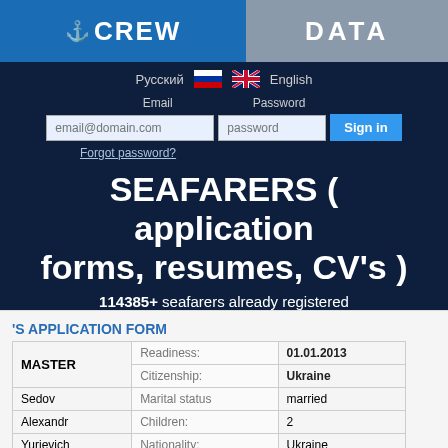[Figure (logo): CrewData logo with anchor icon: blue left half with CREW text, gray right half with DATA text]
Русский 🇷🇺 🇬🇧 English
Email   Password
email@domain.com  [password]  Sign in
Forgot password?
SEAFARERS ( application forms, resumes, CV's )
114385+ seafarers already registered
'S APPLICATION FORM
| Field | Label | Value |
| --- | --- | --- |
| MASTER | Readiness: | 01.01.2013 |
|  | Citizenship: | Ukraine |
| Sedov | Marital status | married |
| Alexandr | Children: | 2 |
| Yurievich | Nationality: | Ukraine |